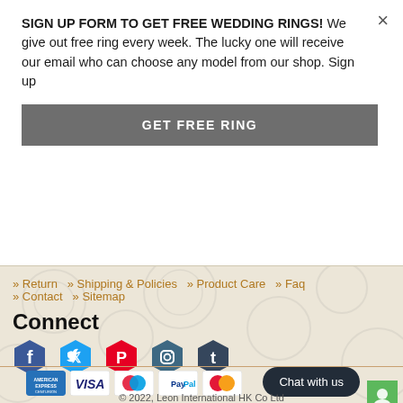SIGN UP FORM TO GET FREE WEDDING RINGS! We give out free ring every week. The lucky one will receive our email who can choose any model from our shop. Sign up
GET FREE RING
» Return  » Shipping & Policies  » Product Care  » Faq
» Contact  » Sitemap
Connect
[Figure (other): Social media icons: Facebook, Twitter, Pinterest, Instagram, Tumblr]
[Figure (other): Payment icons: American Express, Visa, Maestro, PayPal, Mastercard]
Chat with us
© 2022, Leon International HK Co Ltd